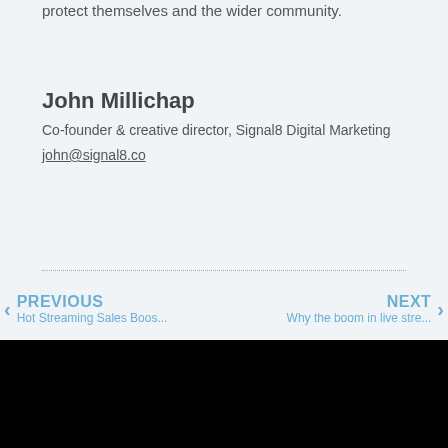protect themselves and the wider community.
John Millichap
Co-founder & creative director, Signal8 Digital Marketing
john@signal8.co
PREVIOUS | Hot Streaming Sales Boos...   NEXT | Why the boom in live stre...